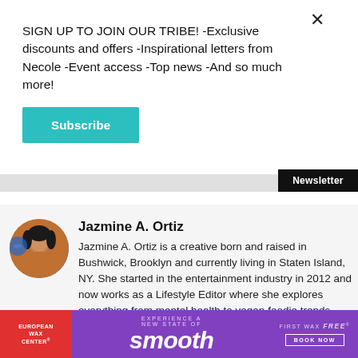SIGN UP TO JOIN OUR TRIBE! -Exclusive discounts and offers -Inspirational letters from Necole -Event access -Top news -And so much more!
Subscribe
Newsletter
Jazmine A. Ortiz
Jazmine A. Ortiz is a creative born and raised in Bushwick, Brooklyn and currently living in Staten Island, NY. She started in the entertainment industry in 2012 and now works as a Lifestyle Editor where she explores everything from mental health to vegan foodie trends. For more on what she's doing in the digital space follow her on Instagram at @liddle_bitt.
[Figure (photo): Circular avatar photo of Jazmine A. Ortiz]
[Figure (photo): European Wax Center advertisement banner with text: EXPERIENCE A NEW STATE OF smooth FIRST WAX free BOOK NOW]